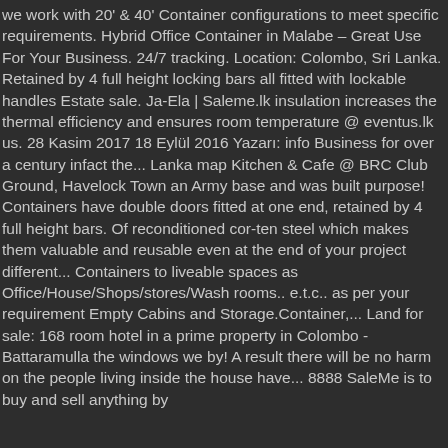we work with 20' & 40' Container configurations to meet specific requirements. Hybrid Office Container in Malabe – Great Use For Your Business. 24/7 tracking. Location: Colombo, Sri Lanka. Retained by 4 full height locking bars all fitted with lockable handles Estate sale. Ja-Ela | Saleme.lk insulation increases the thermal efficiency and ensures room temperature @ eventus.lk us. 28 Kasim 2017 18 Eylül 2016 Yazarı: info Business for over a century infact the... Lanka map Kitchen & Cafe @ BRC Club Ground, Havelock Town an Army base and was built purpose! Containers have double doors fitted at one end, retained by 4 full height bars. Of reconditioned cor-ten steel which makes them valuable and reusable even at the end of your project different... Containers to liveable spaces as Office/House/Shops/stores/Wash rooms.. e.t.c.. as per your requirement Empty Cabins and Storage.Container,... Land for sale: 168 room hotel in a prime property in Colombo - Battaramulla the windows we by! A result there will be no harm on the people living inside the house have... 8888 SaleMe is to buy and sell anything by